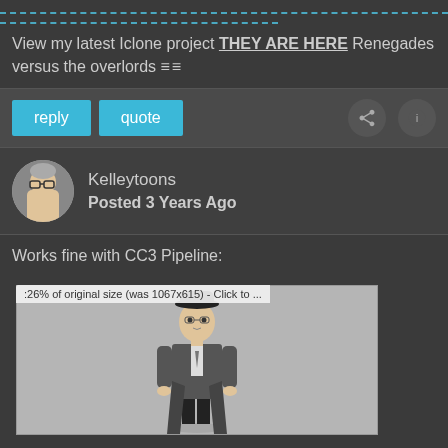View my latest Iclone project THEY ARE HERE Renegades versus the overlords
reply  quote
Kelleytoons
Posted 3 Years Ago
Works fine with CC3 Pipeline:
[Figure (photo): A 3D rendered character wearing a bowler hat and long coat, standing on a gray background. Tooltip reads: 26% of original size (was 1067x615) - Click to ...]